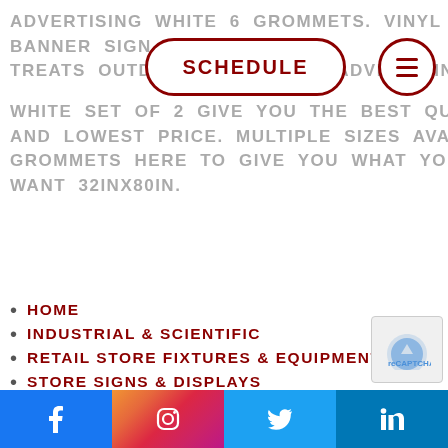ADVERTISING WHITE 6 GROMMETS. VINYL BANNER SIGN SV... L S... TREATS OUTDOOR MARKETING ADVERTISING WHITE SET OF 2 GIVE YOU THE BEST QUALITY AND LOWEST PRICE. MULTIPLE SIZES AVAILABLE 6 GROMMETS HERE TO GIVE YOU WHAT YOU WANT 32INX80IN.
[Figure (other): SCHEDULE button (pill/rounded rectangle shape with dark red border and bold uppercase text) and hamburger menu button (circle with dark red border and three horizontal lines)]
HOME
INDUSTRIAL & SCIENTIFIC
RETAIL STORE FIXTURES & EQUIPMENT
STORE SIGNS & DISPLAYS
STORE SIGNS
Social media icons: Facebook, Instagram, Twitter, LinkedIn